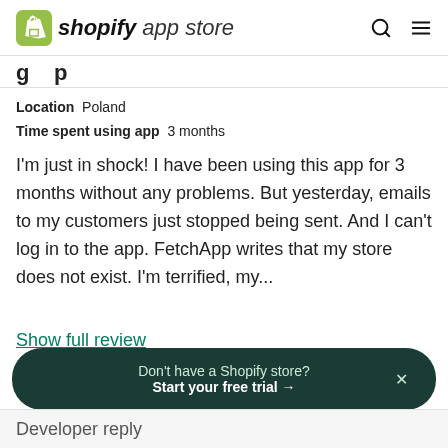shopify app store
Location  Poland
Time spent using app  3 months
I'm just in shock! I have been using this app for 3 months without any problems. But yesterday, emails to my customers just stopped being sent. And I can't log in to the app. FetchApp writes that my store does not exist. I'm terrified, my...
Show full review
Helpful (1)
Don't have a Shopify store?
Start your free trial →
Developer reply